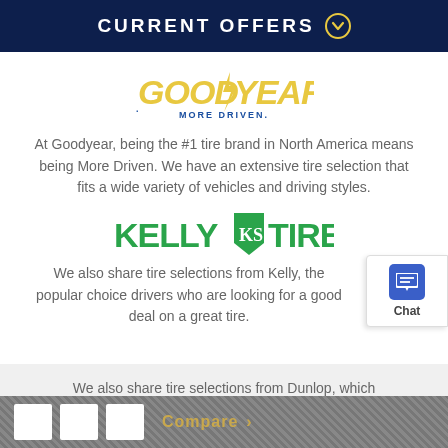CURRENT OFFERS
[Figure (logo): Goodyear logo with 'MORE DRIVEN.' tagline]
At Goodyear, being the #1 tire brand in North America means being More Driven. We have an extensive tire selection that fits a wide variety of vehicles and driving styles.
[Figure (logo): Kelly KS Tires logo in green]
We also share tire selections from Kelly, the popular choice drivers who are looking for a good deal on a great tire.
We also share tire selections from Dunlop, which manufactures tires with powerful performance and style to match.
Compare >